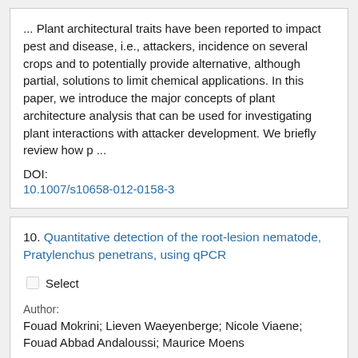... Plant architectural traits have been reported to impact pest and disease, i.e., attackers, incidence on several crops and to potentially provide alternative, although partial, solutions to limit chemical applications. In this paper, we introduce the major concepts of plant architecture analysis that can be used for investigating plant interactions with attacker development. We briefly review how p ...
DOI:
10.1007/s10658-012-0158-3
10. Quantitative detection of the root-lesion nematode, Pratylenchus penetrans, using qPCR
Select
Author:
Fouad Mokrini; Lieven Waeyenberge; Nicole Viaene; Fouad Abbad Andaloussi; Maurice Moens
Source:
European journal of plant pathology 2013 v.137 no.2 pp. 403-